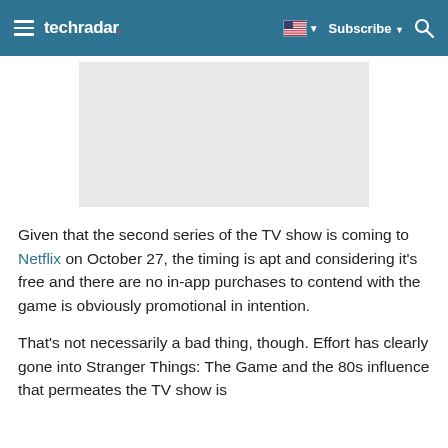techradar   Subscribe
[Figure (other): Advertisement placeholder image, light gray rectangle]
Given that the second series of the TV show is coming to Netflix on October 27, the timing is apt and considering it’s free and there are no in-app purchases to contend with the game is obviously promotional in intention.
That’s not necessarily a bad thing, though. Effort has clearly gone into Stranger Things: The Game and the 80s influence that permeates the TV show is